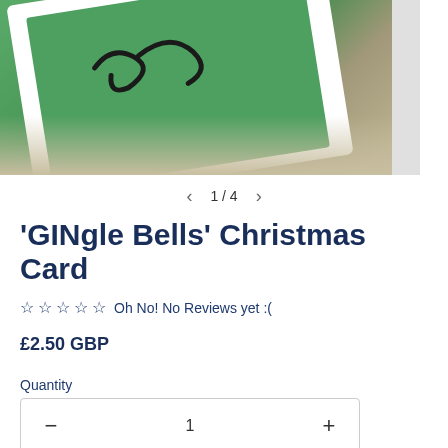[Figure (photo): A Christmas card with green background and black script lettering, displayed at an angle on a stone/concrete surface. The card has a white border. Right edge shows a partial strip.]
1 / 4
'GINgle Bells' Christmas Card
☆ ☆ ☆ ☆ ☆ Oh No! No Reviews yet :(
£2.50 GBP
Quantity
— 1 +
Add to cart